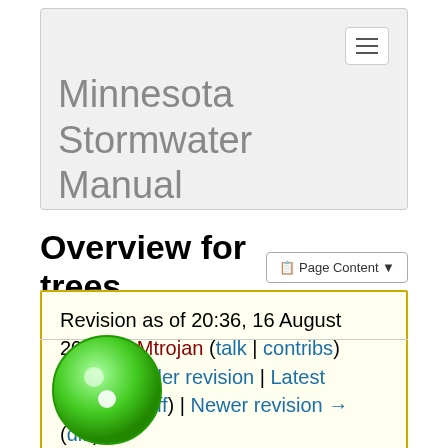Minnesota Stormwater Manual
Overview for trees
Revision as of 20:36, 16 August 2021 by Mtrojan (talk | contribs)
(diff) ← Older revision | Latest revision (diff) | Newer revision → (diff)
[Figure (illustration): Green circular icon/button at bottom of page]